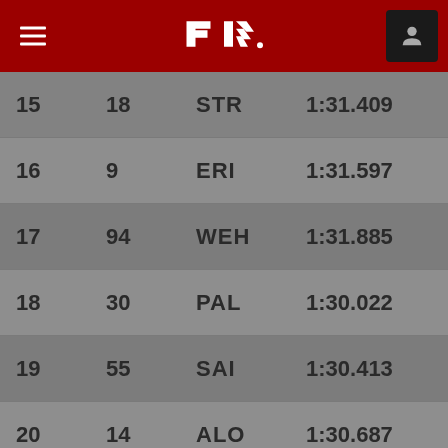[Figure (logo): Formula 1 official logo on dark red header bar with hamburger menu and user icon]
| Pos | No | Code | Time |
| --- | --- | --- | --- |
| 15 | 18 | STR | 1:31.409 |
| 16 | 9 | ERI | 1:31.597 |
| 17 | 94 | WEH | 1:31.885 |
| 18 | 30 | PAL | 1:30.022 |
| 19 | 55 | SAI | 1:30.413 |
| 20 | 14 | ALO | 1:30.687 |
Note - penalised for use of additional power unit elements: